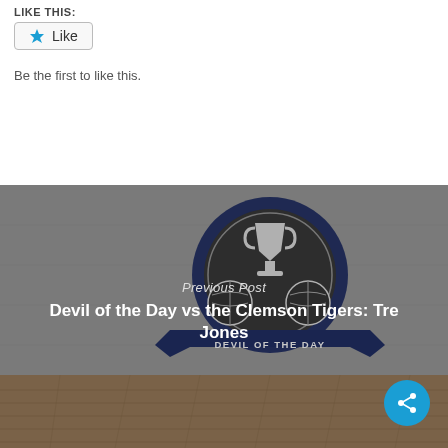LIKE THIS:
Like
Be the first to like this.
[Figure (infographic): Badge/logo with trophy and basketballs, dark navy circle with 'DEVIL OF THE DAY' banner, on a gray textured background with wood floor, showing a Previous Post navigation block]
Previous Post
Devil of the Day vs the Clemson Tigers: Tre Jones